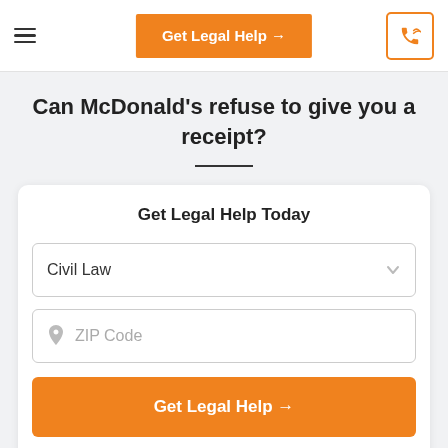Get Legal Help →
Can McDonald's refuse to give you a receipt?
Get Legal Help Today
Civil Law
ZIP Code
Get Legal Help →